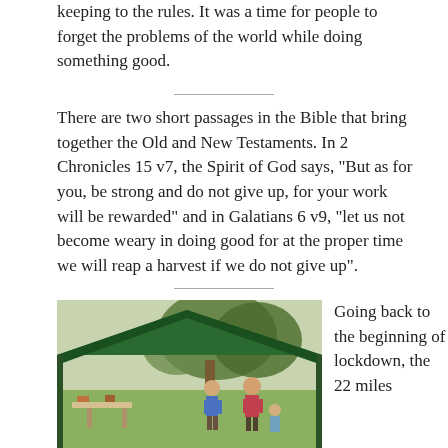keeping to the rules. It was a time for people to forget the problems of the world while doing something good.
There are two short passages in the Bible that bring together the Old and New Testaments. In 2 Chronicles 15 v7, the Spirit of God says, “But as for you, be strong and do not give up, for your work will be rewarded” and in Galatians 6 v9, “let us not become weary in doing good for at the proper time we will reap a harvest if we do not give up”.
[Figure (photo): Outdoor scene with a green gazebo/canopy tent set up in a garden with trees. People are gathered around tables underneath and nearby, with a sunny day visible in the background.]
Going back to the beginning of lockdown, the 22 miles